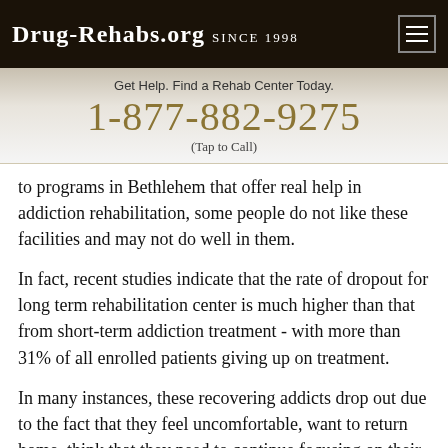Drug-Rehabs.org Since 1998
Get Help. Find a Rehab Center Today.
1-877-882-9275
(Tap to Call)
to programs in Bethlehem that offer real help in addiction rehabilitation, some people do not like these facilities and may not do well in them.
In fact, recent studies indicate that the rate of dropout for long term rehabilitation center is much higher than that from short-term addiction treatment - with more than 31% of all enrolled patients giving up on treatment.
In many instances, these recovering addicts drop out due to the fact that they feel uncomfortable, want to return home, think that they need to continue focusing on their work and providing for their loved ones, or due to the fact that they lack the finances to continue receiving rehab.